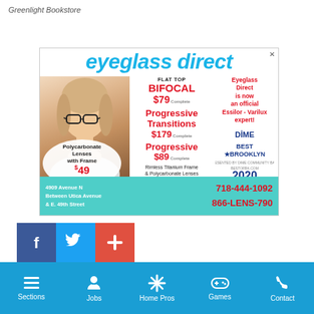Greenlight Bookstore
[Figure (infographic): Eyeglass Direct advertisement featuring a woman wearing glasses, pricing for bifocal ($79), progressive transitions ($179), progressive ($89), rimless titanium frame with polycarbonate lenses ($99), polycarbonate lenses with frame ($49), address at 4909 Avenue N between Utica Avenue & E. 49th Street, phone 718-444-1092 and 866-LENS-790, Dime Best of Brooklyn 2020 award badge, teal bottom bar.]
[Figure (infographic): Social media buttons: Facebook (blue), Twitter (light blue), plus/red button]
Sections  Jobs  Home Pros  Games  Contact